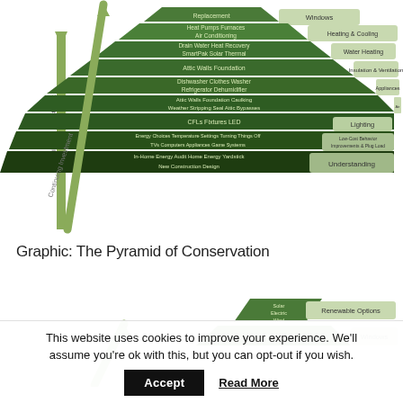[Figure (infographic): Pyramid of Conservation diagram (top portion) showing layered green steps from top to bottom: Replacement/Windows, Heat Pumps Furnaces Air Conditioning/Heating & Cooling, Drain Water Heat Recovery SmartPak Solar Thermal/Water Heating, Attic Walls Foundation/Insulation & Ventilation, Dishwasher Clothes Washer Refrigerator Dehumidifier/Appliances, Attic Walls Foundation Caulking Weather Stripping Seal Attic Bypasses/Air Sealing, CFLs Fixtures LED/Lighting, Energy Choices Temperature Settings Turning Things Off TVs Computers Appliances Game Systems/Low-Cost Behavior Improvements & Plug Load, In-Home Energy Audit Home Energy Yardstick New Construction Design/Understanding. A large green arrow labeled 'Continuing Investment' runs up the left side.]
Graphic: The Pyramid of Conservation
[Figure (infographic): Bottom portion of the Pyramid of Conservation diagram showing Solar Electric Wind/Renewable Options at top and Replacement/Windows below it, with a green arrow on the left.]
This website uses cookies to improve your experience. We'll assume you're ok with this, but you can opt-out if you wish.